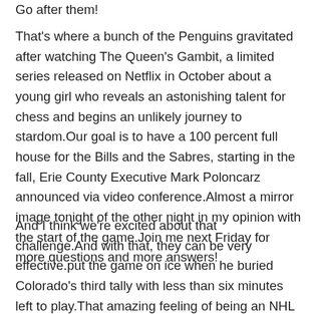Go after them!
That's where a bunch of the Penguins gravitated after watching The Queen's Gambit, a limited series released on Netflix in October about a young girl who reveals an astonishing talent for chess and begins an unlikely journey to stardom.Our goal is to have a 100 percent full house for the Bills and the Sabres, starting in the fall, Erie County Executive Mark Poloncarz announced via video conference.Almost a mirror image tonight of the other night in my opinion with the start of the game.Join me next Friday for more questions and more answers!
And I think we're excited about that challenge.And with that, they can be very effective.put the game on ice when he buried Colorado's third tally with less than six minutes left to play.That amazing feeling of being an NHL